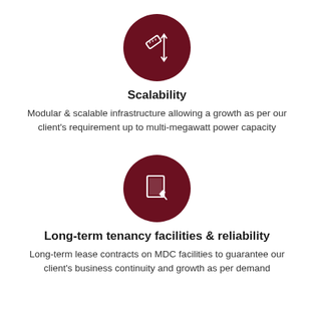[Figure (illustration): Dark red circle icon with a ruler and up/down arrows representing scalability]
Scalability
Modular & scalable infrastructure allowing a growth as per our client's requirement up to multi-megawatt power capacity
[Figure (illustration): Dark red circle icon with a document/clipboard and pen representing long-term tenancy]
Long-term tenancy facilities & reliability
Long-term lease contracts on MDC facilities to guarantee our client's business continuity and growth as per demand